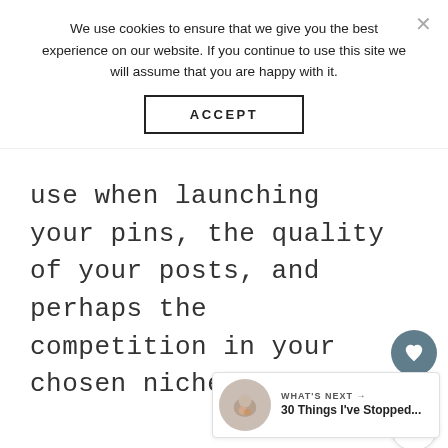We use cookies to ensure that we give you the best experience on our website. If you continue to use this site we will assume that you are happy with it.
ACCEPT
use when launching your pins, the quality of your posts, and perhaps the competition in your chosen niche.
129
WHAT'S NEXT → 30 Things I've Stopped...